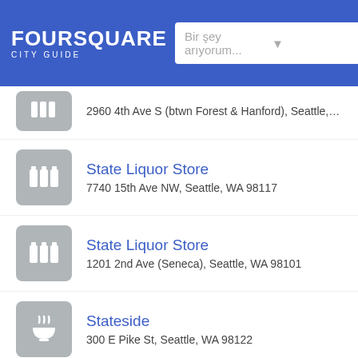FOURSQUARE CITY GUIDE — Bir şey arıyorum... San D
2960 4th Ave S (btwn Forest & Hanford), Seattle, W
State Liquor Store — 7740 15th Ave NW, Seattle, WA 98117
State Liquor Store — 1201 2nd Ave (Seneca), Seattle, WA 98101
Stateside — 300 E Pike St, Seattle, WA 98122
Statue of Liberty — 61st Ave SW & Alki Ave SW (at Alki Beach), Seattl
Staybridge Suites Seattle - Fre — 3926 Aurora Ave N, Seattle, WA 98103